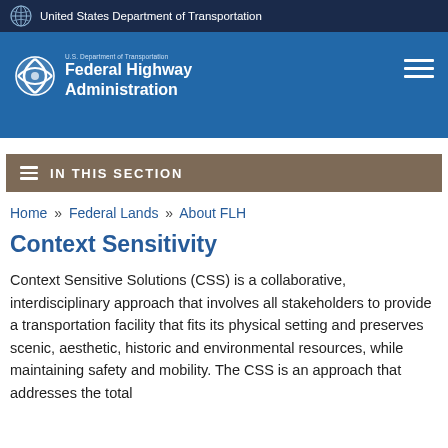United States Department of Transportation
[Figure (logo): Federal Highway Administration logo with USDOT emblem and text 'U.S. Department of Transportation Federal Highway Administration']
IN THIS SECTION
Home » Federal Lands » About FLH
Context Sensitivity
Context Sensitive Solutions (CSS) is a collaborative, interdisciplinary approach that involves all stakeholders to provide a transportation facility that fits its physical setting and preserves scenic, aesthetic, historic and environmental resources, while maintaining safety and mobility. The CSS is an approach that addresses the total